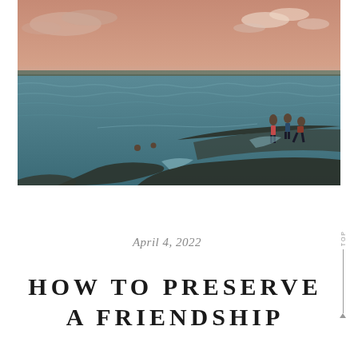[Figure (photo): Aerial or wide-angle beach/ocean photo at sunset showing people on rocky outcrop in the water with waves, clouds and warm sky tones in the background.]
April 4, 2022
HOW TO PRESERVE A FRIENDSHIP